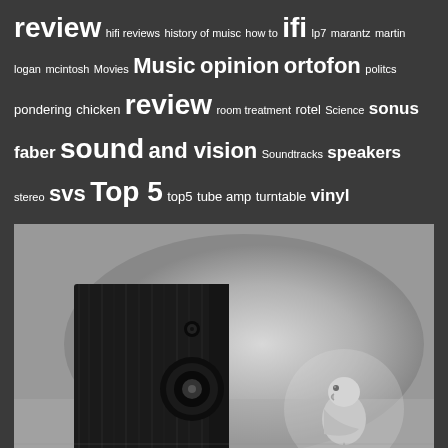review hifi reviews history of muisc how to ifi lp7 marantz martin logan mcintosh Movies Music opinion ortofon politcs pondering chicken review room treatment rotel Science sonus faber sound and vision Soundtracks speakers stereo svs Top 5 top5 tube amp turntable vinyl
[Figure (photo): Black and white photograph of a black wooden speaker/subwoofer on the left and a small bird (parrot/parakeet) standing on the right, on a light surface with gradient background]